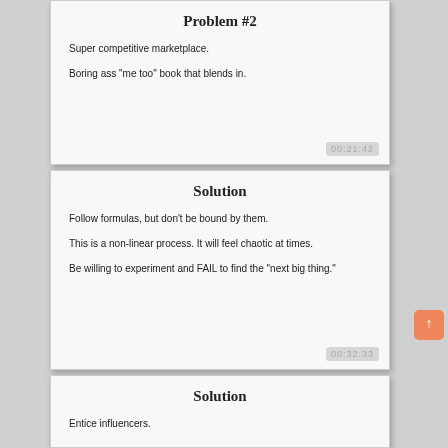Problem #2
Super competitive marketplace.
Boring ass "me too" book that blends in.
00:21:42
Solution
Follow formulas, but don't be bound by them.
This is a non-linear process. It will feel chaotic at times.
Be willing to experiment and FAIL to find the "next big thing."
00:32:33
Solution
Entice influencers.